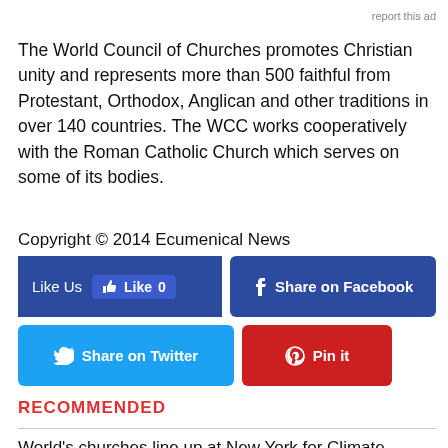report this ad
The World Council of Churches promotes Christian unity and represents more than 500 faithful from Protestant, Orthodox, Anglican and other traditions in over 140 countries. The WCC works cooperatively with the Roman Catholic Church which serves on some of its bodies.
Copyright © 2014 Ecumenical News
[Figure (infographic): Social sharing buttons: Like Us with Like 0 count, Share on Facebook, Share on Twitter, Pin it]
RECOMMENDED
World's churches line up at New York for Climate Summit calling for action now to save creation